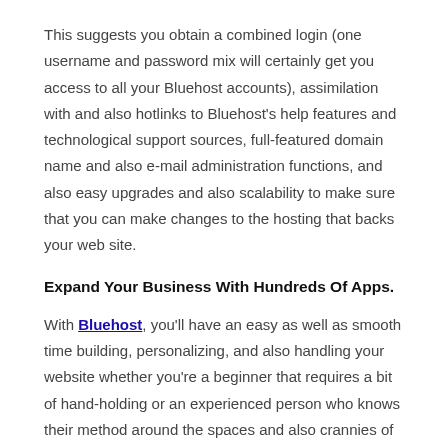This suggests you obtain a combined login (one username and password mix will certainly get you access to all your Bluehost accounts), assimilation with and also hotlinks to Bluehost's help features and technological support sources, full-featured domain name and also e-mail administration functions, and also easy upgrades and also scalability to make sure that you can make changes to the hosting that backs your web site.
Expand Your Business With Hundreds Of Apps.
With Bluehost, you'll have an easy as well as smooth time building, personalizing, and also handling your website whether you're a beginner that requires a bit of hand-holding or an experienced person who knows their method around the spaces and also crannies of internet site creation and administration.
And also this is all thanks to the numerous website tools that